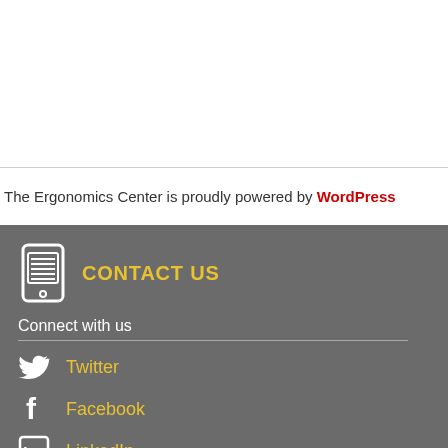The Ergonomics Center is proudly powered by WordPress
CONTACT US
Connect with us
Twitter
Facebook
LinkedIn